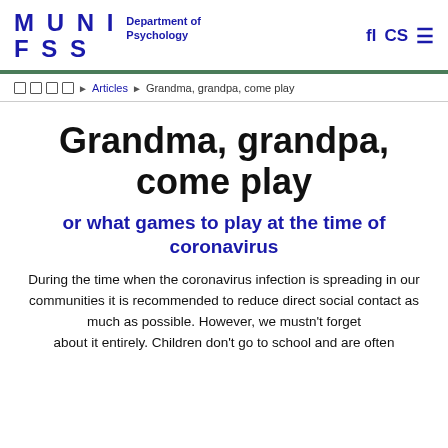MUNI FSS — Department of Psychology
□ □ □ □ Articles □ Grandma, grandpa, come play
Grandma, grandpa, come play
or what games to play at the time of coronavirus
During the time when the coronavirus infection is spreading in our communities it is recommended to reduce direct social contact as much as possible. However, we mustn't forget about it entirely. Children don't go to school and are often